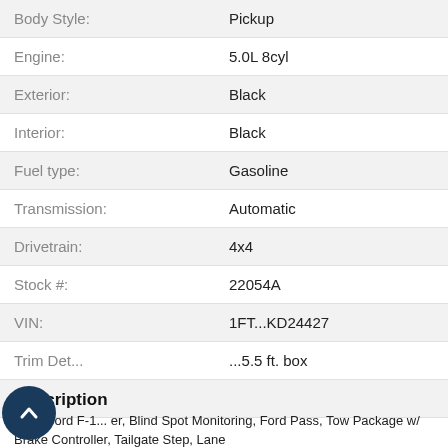| Label | Value |
| --- | --- |
| Body Style: | Pickup |
| Engine: | 5.0L 8cyl |
| Exterior: | Black |
| Interior: | Black |
| Fuel type: | Gasoline |
| Transmission: | Automatic |
| Drivetrain: | 4x4 |
| Stock #: | 22054A |
| VIN: | 1FT...KD24427 |
| Trim Det... | ...5.5 ft. box |
| City: |  |
Description
2021 Ford F-1... er, Blind Spot Monitoring, Ford Pass, Tow Package w/ Brake Controller, Tailgate Step, Lane
[Figure (screenshot): Chat widget overlay with agent photo, Online status, message 'Any sales questions? Connect with us now!' and TEXT and CHAT buttons]